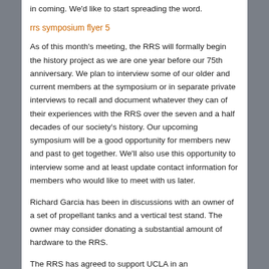in coming. We'd like to start spreading the word.
rrs symposium flyer 5
As of this month's meeting, the RRS will formally begin the history project as we are one year before our 75th anniversary. We plan to interview some of our older and current members at the symposium or in separate private interviews to recall and document whatever they can of their experiences with the RRS over the seven and a half decades of our society's history. Our upcoming symposium will be a good opportunity for members new and past to get together. We'll also use this opportunity to interview some and at least update contact information for members who would like to meet with us later.
Richard Garcia has been in discussions with an owner of a set of propellant tanks and a vertical test stand. The owner may consider donating a substantial amount of hardware to the RRS.
The RRS has agreed to support UCLA in an